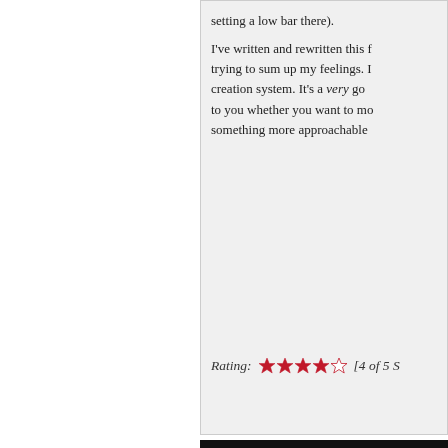setting a low bar there).
I've written and rewritten this f... trying to sum up my feelings. I... creation system. It's a very go... to you whether you want to mo... something more approachable...
Rating: [4 of 5 S...
Displaying 1 to 15 (of 91 reviews)
Need help?
Common Questions (FAQ)
Submit Suggestion
Account
Login/Create Account
Account
My Library
Affiliate System
How to Sell on DriveThruRPG.com
Gift Certificates
Create Content for your Favorite Games
Information
About Us
Privacy Policy
Our Latest Ne...
Product Revie...
New Product R...
Newsletter RSS...
Bug Bounty Pr...